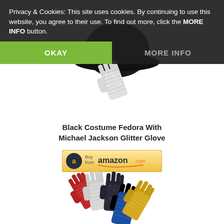Privacy & Cookies: This site uses cookies. By continuing to use this website, you agree to their use. To find out more, click the MORE INFO button.
OKAY
MORE INFO
[Figure (photo): A sparkly white Michael Jackson glitter glove shown at an angle against a white background, with a black fedora hat partially visible at top.]
Black Costume Fedora With Michael Jackson Glitter Glove
[Figure (other): Buy from Amazon.com button with Amazon logo]
[Figure (photo): Multiple sequined gloves in red, white/silver, black, blue, and yellow/gold colors fanned out against a white background.]